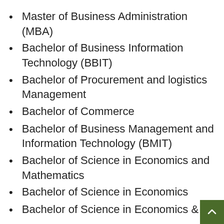Master of Business Administration (MBA)
Bachelor of Business Information Technology (BBIT)
Bachelor of Procurement and logistics Management
Bachelor of Commerce
Bachelor of Business Management and Information Technology (BMIT)
Bachelor of Science in Economics and Mathematics
Bachelor of Science in Economics
Bachelor of Science in Economics &